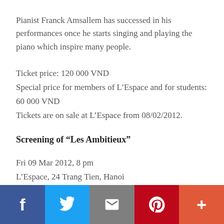Pianist Franck Amsallem has successed in his performances once he starts singing and playing the piano which inspire many people.
Ticket price: 120 000 VND
Special price for members of L’Espace and for students: 60 000 VND
Tickets are on sale at L’Espace from 08/02/2012.
Screening of “Les Ambitieux”
Fri 09 Mar 2012, 8 pm
L’Espace, 24 Trang Tien, Hanoi